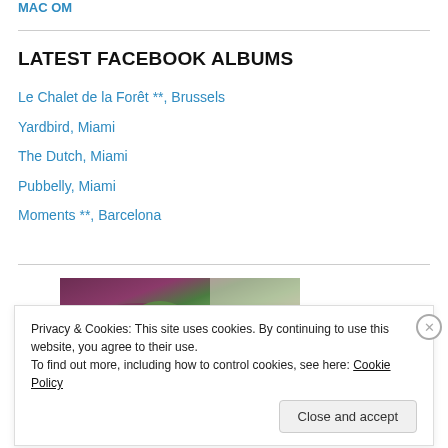MAC OM
LATEST FACEBOOK ALBUMS
Le Chalet de la Forêt **, Brussels
Yardbird, Miami
The Dutch, Miami
Pubbelly, Miami
Moments **, Barcelona
[Figure (photo): Food photo showing purple/red colored food item with green garnish on a plate, partially visible]
Privacy & Cookies: This site uses cookies. By continuing to use this website, you agree to their use.
To find out more, including how to control cookies, see here: Cookie Policy
Close and accept